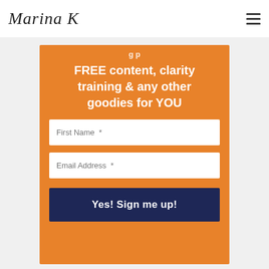Marina K
FREE content, clarity training & any other goodies for YOU
[Figure (other): Input field with placeholder 'First Name *']
[Figure (other): Input field with placeholder 'Email Address *']
Yes! Sign me up!